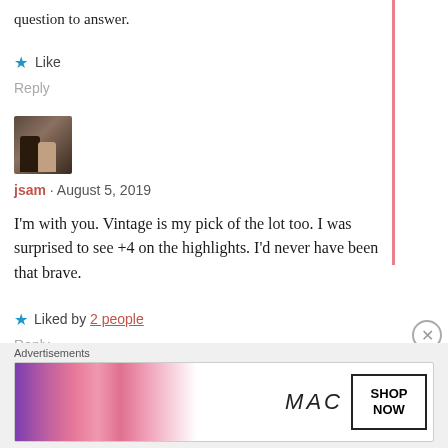question to answer.
★ Like
Reply
[Figure (photo): User avatar photo showing two people]
jsam · August 5, 2019
I'm with you. Vintage is my pick of the lot too. I was surprised to see +4 on the highlights. I'd never have been that brave.
★ Liked by 2 people
Reply
Advertisements
[Figure (screenshot): MAC cosmetics advertisement showing lipsticks with SHOP NOW button]